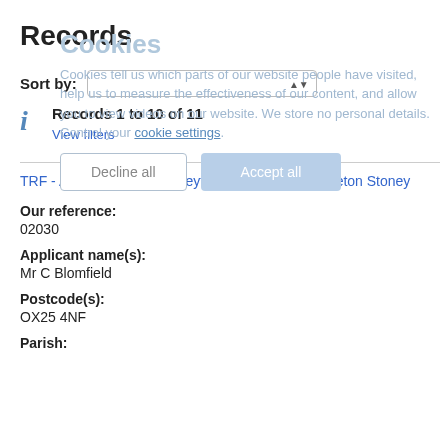Records
Sort by:
Records 1 to 10 of 11
View filters
Cookies
Cookies tell us which parts of our website people have visited, help us to measure the effectiveness of our content, and allow you to view videos on our website. We store no personal details. Control your cookie settings.
Decline all
Accept all
TRF - Aves Ditch, Lower Heyford, Kirtlington, Middleton Stoney
Our reference:
02030
Applicant name(s):
Mr C Blomfield
Postcode(s):
OX25 4NF
Parish: